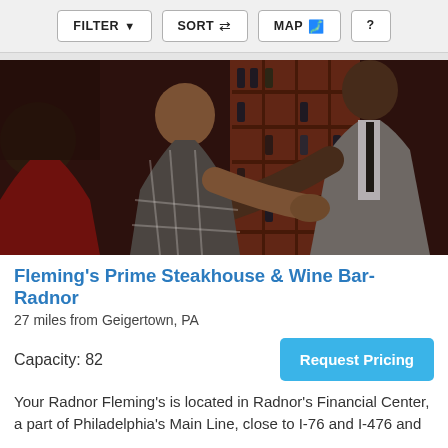FILTER  SORT  MAP  ?
[Figure (photo): Two men shaking hands in a restaurant setting with wine bottle shelving in background. A woman is partially visible on the left. One man wears a plaid shirt; the other wears a gray suit and tie.]
Fleming's Prime Steakhouse & Wine Bar-Radnor
27 miles from Geigertown, PA
Capacity: 82
Request Pricing
Your Radnor Fleming's is located in Radnor's Financial Center, a part of Philadelphia's Main Line, close to I-76 and I-476 and